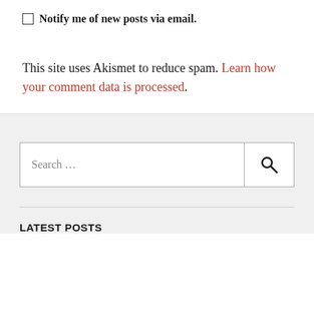Notify me of new posts via email.
This site uses Akismet to reduce spam. Learn how your comment data is processed.
[Figure (other): Search input box with search icon button]
LATEST POSTS